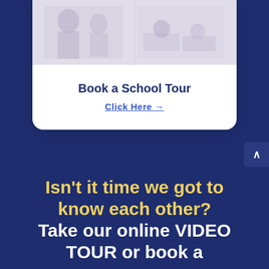[Figure (photo): Photo of school interior or students in a classroom setting, shown at top of card]
Book a School Tour
Click Here →
Isn't it time we got to know each other? Take our online VIDEO TOUR or book a SCHOOL VISIT